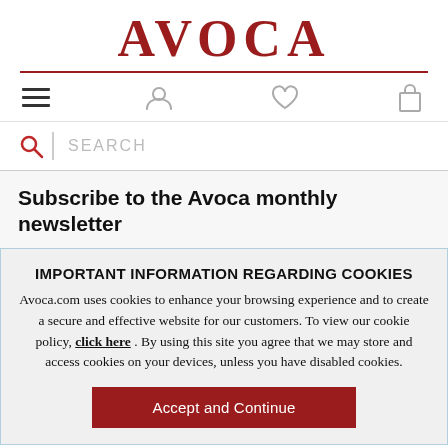AVOCA
[Figure (screenshot): Navigation bar with hamburger menu, user account icon, heart/wishlist icon, and shopping bag icon]
SEARCH
Subscribe to the Avoca monthly newsletter
IMPORTANT INFORMATION REGARDING COOKIES
Avoca.com uses cookies to enhance your browsing experience and to create a secure and effective website for our customers. To view our cookie policy, click here . By using this site you agree that we may store and access cookies on your devices, unless you have disabled cookies.
Accept and Continue